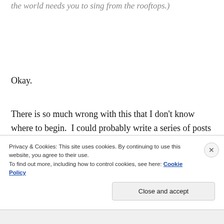the world needs you to sing from the rooftops.)
Okay.
There is so much wrong with this that I don't know where to begin.  I could probably write a series of posts on this, but I will leave it at this: what I read seemed to be proof of Daniel's criticism, that some of
Privacy & Cookies: This site uses cookies. By continuing to use this website, you agree to their use.
To find out more, including how to control cookies, see here: Cookie Policy
Close and accept